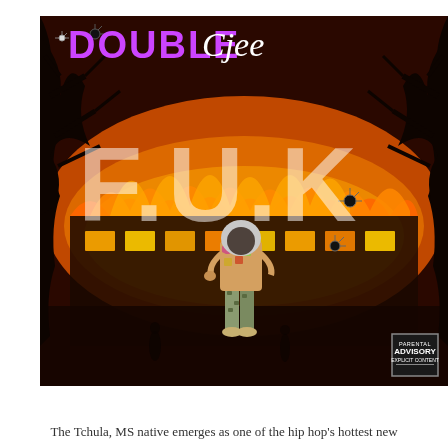[Figure (illustration): Album cover art for 'Double Cjee - F.U.K'. Background shows a building on fire with dramatic orange/red flames and dark tree silhouettes on either side. A person stands in the center foreground wearing a hoodie and camouflage pants. Bullet hole graphics are scattered around. The artist name 'Double Cjee' appears at top in purple/white text, and 'F.U.K' appears in large semi-transparent white letters in the center. An Parental Advisory Explicit Content badge appears in the bottom right corner.]
The Tchula, MS native emerges as one of the hip hop's hottest new